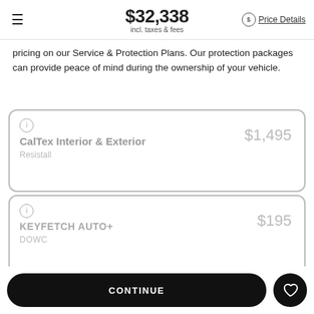$32,338 incl. taxes & fees | Price Details
pricing on our Service & Protection Plans. Our protection packages can provide peace of mind during the ownership of your vehicle.
CalTex Interior & Exterior — Resistall — $1,495
KEYFETCH AUTO+ — DOWC — $195 — VIEW BROCHURE
CONTINUE